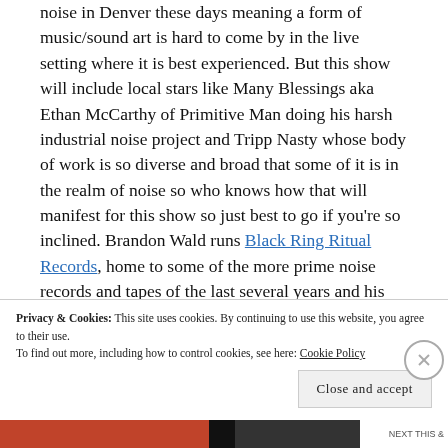noise in Denver these days meaning a form of music/sound art is hard to come by in the live setting where it is best experienced. But this show will include local stars like Many Blessings aka Ethan McCarthy of Primitive Man doing his harsh industrial noise project and Tripp Nasty whose body of work is so diverse and broad that some of it is in the realm of noise so who knows how that will manifest for this show so just best to go if you're so inclined. Brandon Wald runs Black Ring Ritual Records, home to some of the more prime noise records and tapes of the last several years and his own noise is part power electronics, abstract industrial
Privacy & Cookies: This site uses cookies. By continuing to use this website, you agree to their use. To find out more, including how to control cookies, see here: Cookie Policy
Close and accept